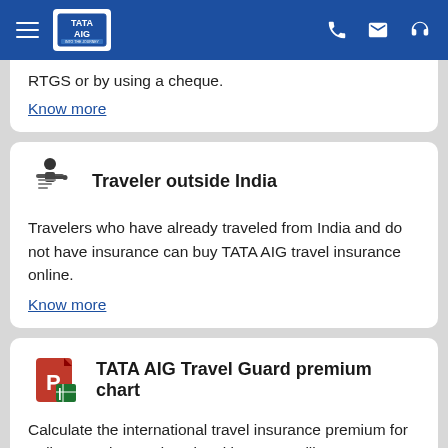TATA AIG header navigation
RTGS or by using a cheque.
Know more
Traveler outside India
Travelers who have already traveled from India and do not have insurance can buy TATA AIG travel insurance online.
Know more
TATA AIG Travel Guard premium chart
Calculate the international travel insurance premium for Indian travelers and senior citizens travelling overseas.
Know more